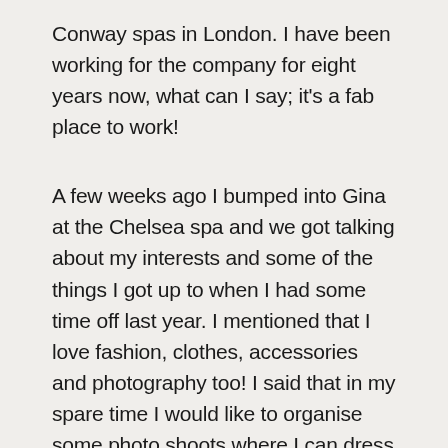Conway spas in London. I have been working for the company for eight years now, what can I say; it's a fab place to work!
A few weeks ago I bumped into Gina at the Chelsea spa and we got talking about my interests and some of the things I got up to when I had some time off last year. I mentioned that I love fashion, clothes, accessories and photography too! I said that in my spare time I would like to organise some photo shoots where I can dress the models and have them shot in specific settings, like in a studio or outdoors.  It just so happened that one of the Directors in the hair team at our the Notting Hill salon had an upcoming shoot, so Gina asked